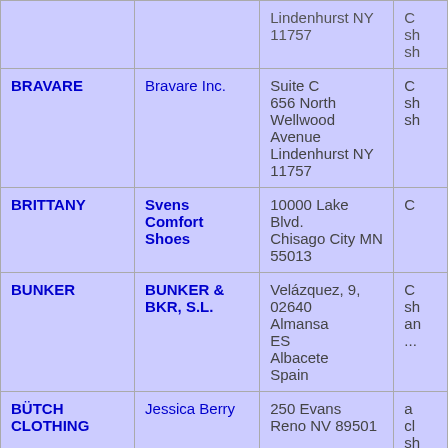| Brand | Contact/Company | Address | Info |
| --- | --- | --- | --- |
| (partial top row) |  | Lindenhurst NY 11757 | sh... |
| BRAVARE | Bravare Inc. | Suite C
656 North Wellwood Avenue
Lindenhurst NY 11757 | C
sh
sh |
| BRITTANY | Svens Comfort Shoes | 10000 Lake Blvd.
Chisago City MN 55013 | C |
| BUNKER | BUNKER & BKR, S.L. | Velázquez, 9, 02640
Almansa
ES
Albacete
Spain | C
sh
an
... |
| BÜTCH CLOTHING | Jessica Berry | 250 Evans
Reno NV 89501 | a
cl
sh |
| CALIFORNIA CLOGS | California Clogs | 1130 Camino Del Mar
Suite 13
Del Mar CA 92014 | cl
of |